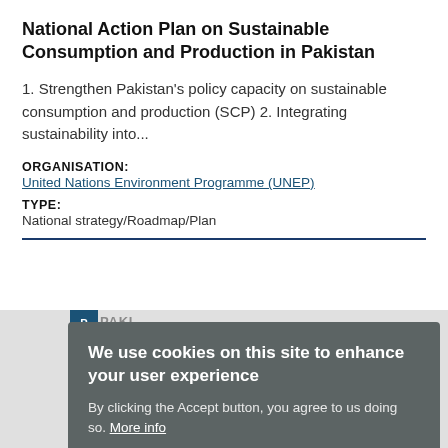National Action Plan on Sustainable Consumption and Production in Pakistan
1. Strengthen Pakistan's policy capacity on sustainable consumption and production (SCP) 2. Integrating sustainability into...
ORGANISATION:
United Nations Environment Programme (UNEP)
TYPE:
National strategy/Roadmap/Plan
[Figure (screenshot): Cookie consent overlay on a gray background section showing 'We use cookies on this site to enhance your user experience' with Accept and No, Thanks buttons]